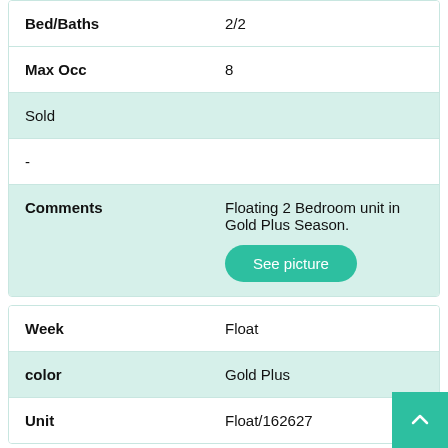| Max Occ | 8 |
| Sold |  |
| - |  |
| Comments | Floating 2 Bedroom unit in Gold Plus Season. |
| Week | Float |
| color | Gold Plus |
| Unit | Float/162627 |